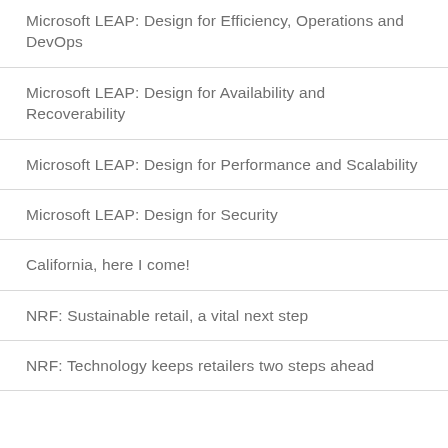Microsoft LEAP: Design for Efficiency, Operations and DevOps
Microsoft LEAP: Design for Availability and Recoverability
Microsoft LEAP: Design for Performance and Scalability
Microsoft LEAP: Design for Security
California, here I come!
NRF: Sustainable retail, a vital next step
NRF: Technology keeps retailers two steps ahead